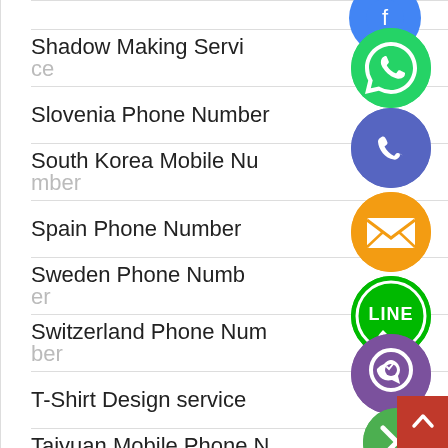Shadow Making Service
Slovenia Phone Number
South Korea Mobile Number
Spain Phone Number
Sweden Phone Number
Switzerland Phone Number
T-Shirt Design service
Taiyuan Mobile Phone Number
[Figure (infographic): Stacked social/contact app icons: WhatsApp (green), phone (blue/purple), email (orange), LINE (green), Viber (purple), close/X (green) overlapping the list items on the right side, plus a red back-to-top button at bottom right.]